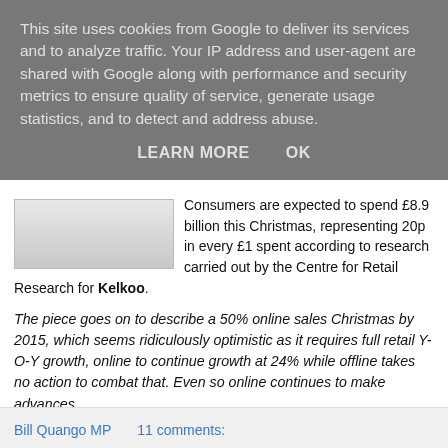This site uses cookies from Google to deliver its services and to analyze traffic. Your IP address and user-agent are shared with Google along with performance and security metrics to ensure quality of service, generate usage statistics, and to detect and address abuse.
LEARN MORE    OK
[Figure (screenshot): Small thumbnail screenshot of a webpage]
Consumers are expected to spend £8.9 billion this Christmas, representing 20p in every £1 spent according to research carried out by the Centre for Retail Research for Kelkoo.
The piece goes on to describe a 50% online sales Christmas by 2015, which seems ridiculously optimistic as it requires full retail Y-O-Y growth, online to continue growth at 24% while offline takes no action to combat that. Even so online continues to make advances.
Bill Quango MP    11 comments: